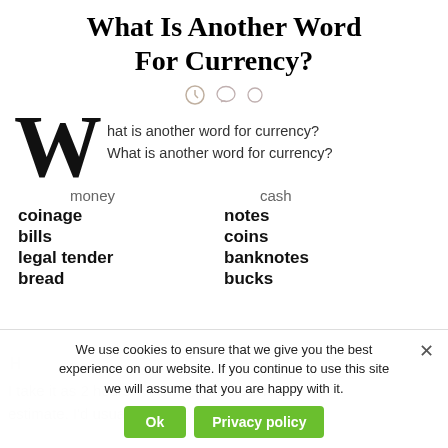What Is Another Word For Currency?
What is another word for currency? What is another word for currency?
money
cash
coinage
notes
bills
coins
legal tender
banknotes
bread
bucks
We use cookies to ensure that we give you the best experience on our website. If you continue to use this site we will assume that you are happy with it.